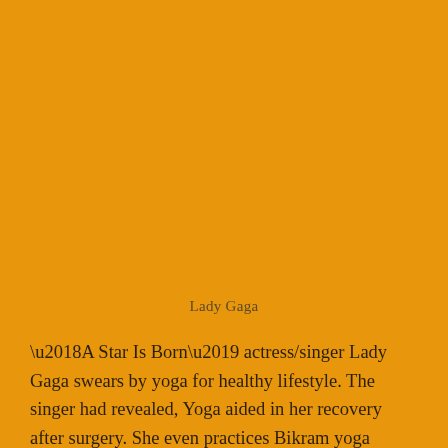Lady Gaga
‘A Star Is Born’ actress/singer Lady Gaga swears by yoga for healthy lifestyle. The singer had revealed, Yoga aided in her recovery after surgery. She even practices Bikram yoga which helped her get rid of eating disorder.